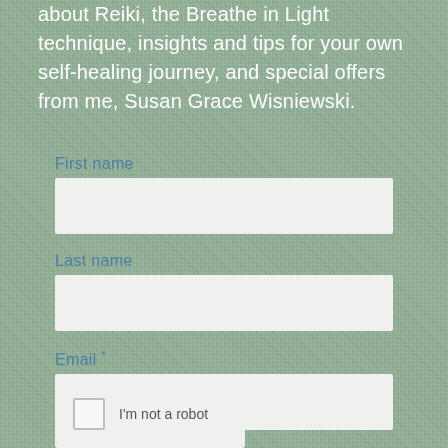about Reiki, the Breathe in Light technique, insights and tips for your own self-healing journey, and special offers from me, Susan Grace Wisniewski.
First name
Last name
Email *
[Figure (screenshot): CAPTCHA widget with checkbox and 'I'm not a robot' text]